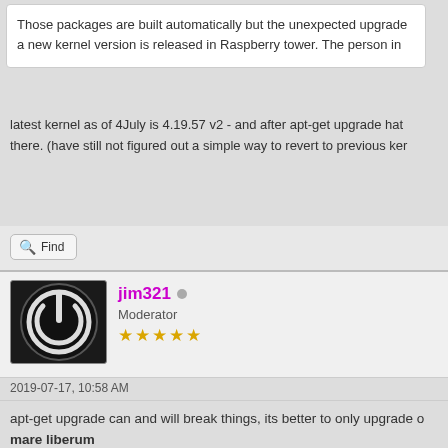Those packages are built automatically but the unexpected upgrade a new kernel version is released in Raspberry tower. The person in
latest kernel as of 4July is 4.19.57 v2 - and after apt-get upgrade hat there. (have still not figured out a simple way to revert to previous ker
Find
[Figure (photo): Power button icon avatar, black circular icon on dark background]
jim321 • Moderator ★★★★★
2019-07-17, 10:58 AM
apt-get upgrade can and will break things, its better to only upgrade o
mare liberum
Find